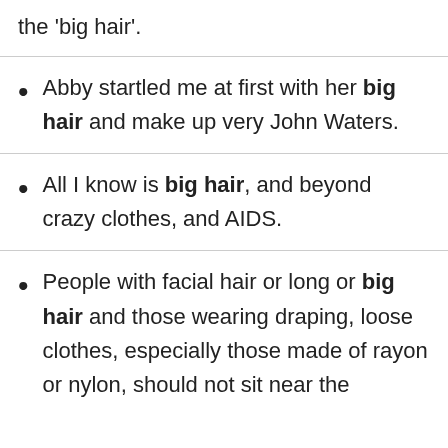the 'big hair'.
Abby startled me at first with her big hair and make up very John Waters.
All I know is big hair, and beyond crazy clothes, and AIDS.
People with facial hair or long or big hair and those wearing draping, loose clothes, especially those made of rayon or nylon, should not sit near the flames, but...